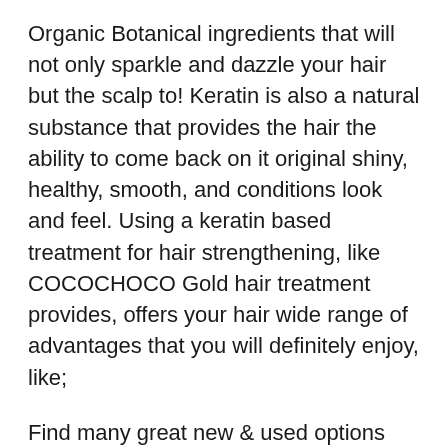Organic Botanical ingredients that will not only sparkle and dazzle your hair but the scalp to! Keratin is also a natural substance that provides the hair the ability to come back on it original shiny, healthy, smooth, and conditions look and feel. Using a keratin based treatment for hair strengthening, like COCOCHOCO Gold hair treatment provides, offers your hair wide range of advantages that you will definitely enjoy, like;
Find many great new & used options and get the best deals for Keratin Cure Gold & Honey Hair Shampoo Conditioner Argan Sulfate Free 160ml 5 oz at the best online prices at вЂ¦ 24/01/2011В В· Bio Keratin Cure Gold and Honey / 300/500/1000 Ml Bottles / Truly Formaldehyde Free and Straighten and Treatment...